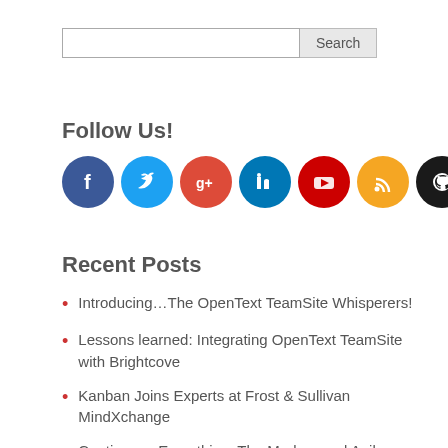[Figure (other): Search bar with text input and Search button]
Follow Us!
[Figure (other): Row of 8 social media icons: Facebook (blue), Twitter (light blue), Google+ (red), LinkedIn (dark blue), YouTube (red), RSS (orange), GitHub (black), Email (green)]
Recent Posts
Introducing…The OpenText TeamSite Whisperers!
Lessons learned: Integrating OpenText TeamSite with Brightcove
Kanban Joins Experts at Frost & Sullivan MindXchange
Continuous Everything: The Modern and Agile Experience Delivery Model for Marketers